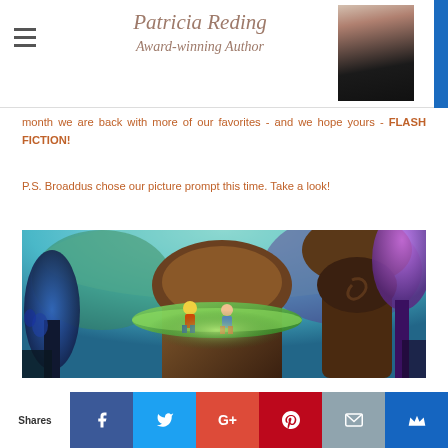Patricia Reding Award-winning Author
month we are back with more of our favorites - and we hope yours - FLASH FICTION!
P.S. Broaddus chose our picture prompt this time. Take a look!
[Figure (illustration): Fantasy digital art illustration showing two children sitting on a large leaf/branch in a magical forest with colorful glowing trees and plants in blues, greens, and purples.]
Shares | Facebook | Twitter | Google+ | Pinterest | Email | Crown